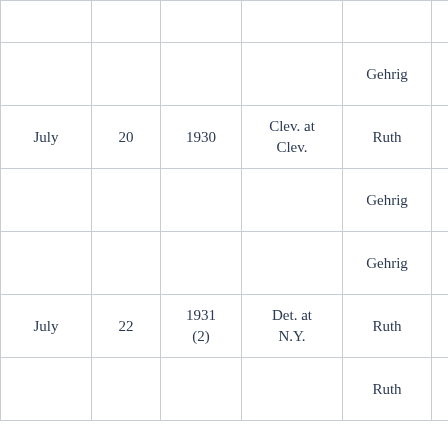| Month | Day | Year | Location | Player | Inning | Pitcher |
| --- | --- | --- | --- | --- | --- | --- |
|  |  |  |  | Gehrig | 6 | Herm Holsh... |
| July | 20 | 1930 | Clev. at Clev. | Ruth | 4 | Milt Shoffr... |
|  |  |  |  | Gehrig | 4 | Milt Shoffr... |
|  |  |  |  | Gehrig | 5 | Milt Shoffr... |
| July | 22 | 1931 (2) | Det. at N.Y. | Ruth | 1 | Tommy Bridge... |
|  |  |  |  | Ruth | 6 | Charle Sulliva... |